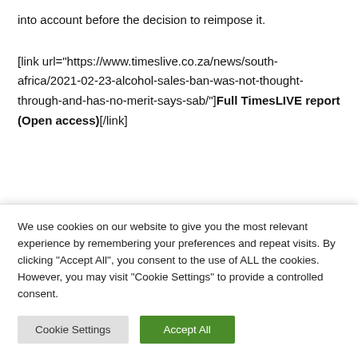into account before the decision to reimpose it.
[link url="https://www.timeslive.co.za/news/south-africa/2021-02-23-alcohol-sales-ban-was-not-thought-through-and-has-no-merit-says-sab/"]Full TimesLIVE report (Open access)[/link]
TAGS [alcohol sales ban] [Bill of Rights] [...]
We use cookies on our website to give you the most relevant experience by remembering your preferences and repeat visits. By clicking "Accept All", you consent to the use of ALL the cookies. However, you may visit "Cookie Settings" to provide a controlled consent.